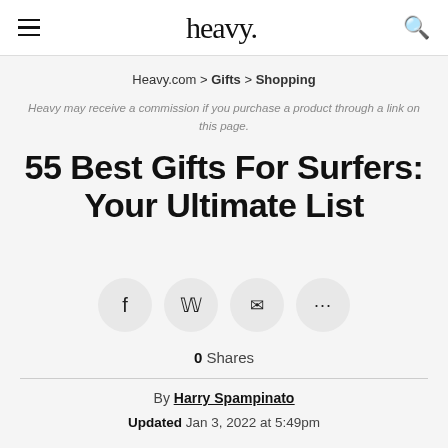heavy.
Heavy.com > Gifts > Shopping
Heavy may receive a commission if you purchase a product through a link on this page.
55 Best Gifts For Surfers: Your Ultimate List
[Figure (other): Social share buttons: Facebook (f), Twitter (y), Email (envelope), More (...)]
0 Shares
By Harry Spampinato
Updated Jan 3, 2022 at 5:49pm